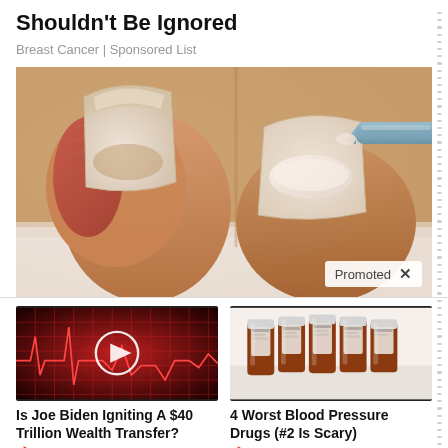Shouldn't Be Ignored
Breast Cancer | Sponsored List
[Figure (photo): Illustrated close-up of toenails, one showing a lifted/damaged nail, the other being treated with a white cream from a tube. Medical/health advertisement image.]
Promoted ×
[Figure (photo): Dark red financial chart/heartbeat monitor graphic with a play button overlay, suggesting a video about financial news.]
Is Joe Biden Igniting A $40 Trillion Wealth Transfer?
🔥 2,480
[Figure (photo): Row of brown prescription medicine pill bottles on a white surface.]
4 Worst Blood Pressure Drugs (#2 Is Scary)
🔥 47,434